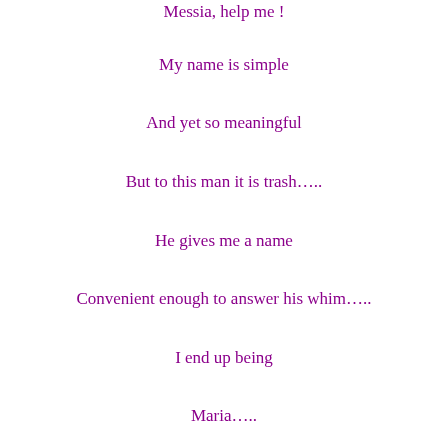Messia, help me !
My name is simple
And yet so meaningful
But to this man it is trash…..
He gives me a name
Convenient enough to answer his whim…..
I end up being
Maria…..